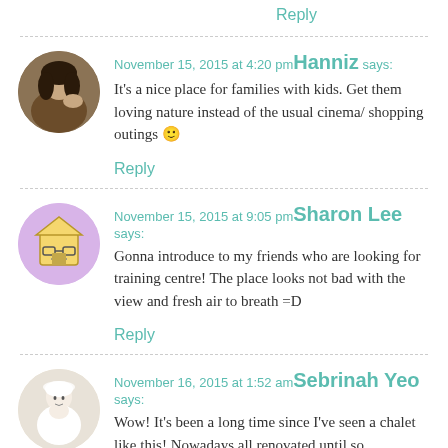Reply
November 15, 2015 at 4:20 pm — Hanniz says:
It's a nice place for families with kids. Get them loving nature instead of the usual cinema/ shopping outings 🙂
Reply
November 15, 2015 at 9:05 pm — Sharon Lee says:
Gonna introduce to my friends who are looking for training centre! The place looks not bad with the view and fresh air to breath =D
Reply
November 16, 2015 at 1:52 am — Sebrinah Yeo says:
Wow! It's been a long time since I've seen a chalet like this! Nowadays all renovated until so